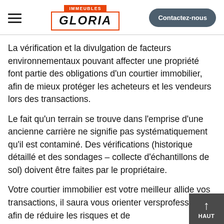IMMEUBLES GLORIA | Contactez-nous
La vérification et la divulgation de facteurs environnementaux pouvant affecter une propriété font partie des obligations d'un courtier immobilier, afin de mieux protéger les acheteurs et les vendeurs lors des transactions.
Le fait qu'un terrain se trouve dans l'emprise d'une ancienne carrière ne signifie pas systématiquement qu'il est contaminé. Des vérifications (historique détaillé et des sondages – collecte d'échantillons de sol) doivent être faites par le propriétaire.
Votre courtier immobilier est votre meilleur allie de vos transactions, il saura vous orienter vers professionnel afin de réduire les risques et de